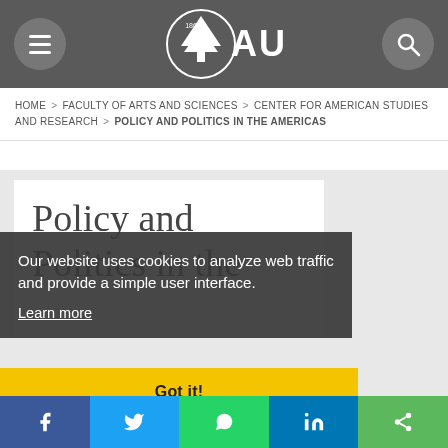AUB — American University of Beirut
HOME > FACULTY OF ARTS AND SCIENCES > CENTER FOR AMERICAN STUDIES AND RESEARCH > POLICY AND POLITICS IN THE AMERICAS
Policy and Politics in the
Our website uses cookies to analyze web traffic and provide a simple user interface. Learn more
Got it!